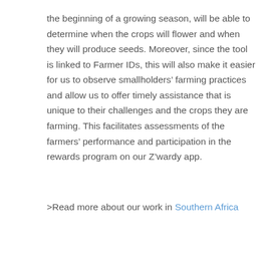the beginning of a growing season, will be able to determine when the crops will flower and when they will produce seeds. Moreover, since the tool is linked to Farmer IDs, this will also make it easier for us to observe smallholders' farming practices and allow us to offer timely assistance that is unique to their challenges and the crops they are farming. This facilitates assessments of the farmers' performance and participation in the rewards program on our Z'wardy app.
>Read more about our work in Southern Africa